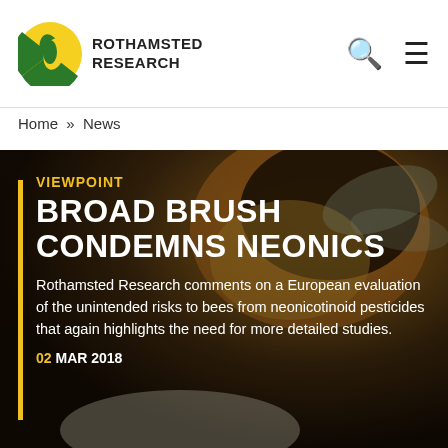[Figure (logo): Rothamsted Research logo — circular emblem with green and yellow leaf design]
ROTHAMSTED RESEARCH
Home » News
[Figure (photo): Close-up macro photograph of a bee on a flower with pollen, dark/warm toned background]
VIEWPOINT
BROAD BRUSH CONDEMNS NEONICS
Rothamsted Research comments on a European evaluation of the unintended risks to bees from neonicotinoid pesticides that again highlights the need for more detailed studies.
02 MAR 2018